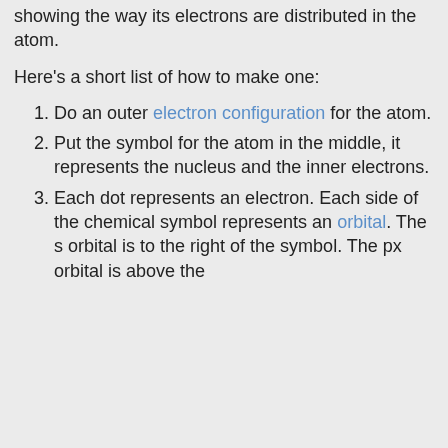showing the way its electrons are distributed in the atom.
Here's a short list of how to make one:
1. Do an outer electron configuration for the atom.
2. Put the symbol for the atom in the middle, it represents the nucleus and the inner electrons.
3. Each dot represents an electron. Each side of the chemical symbol represents an orbital. The s orbital is to the right of the symbol. The px orbital is above the